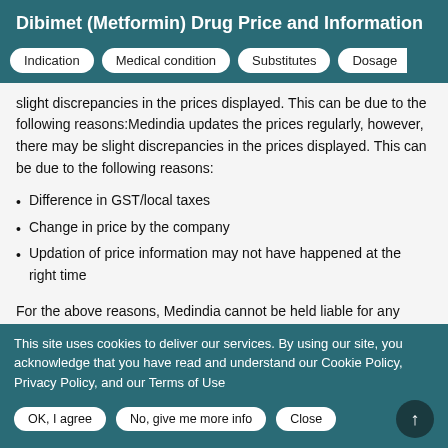Dibimet (Metformin) Drug Price and Information
Indication | Medical condition | Substitutes | Dosage
slight discrepancies in the prices displayed. This can be due to the following reasons:Medindia updates the prices regularly, however, there may be slight discrepancies in the prices displayed. This can be due to the following reasons:
Difference in GST/local taxes
Change in price by the company
Updation of price information may not have happened at the right time
For the above reasons, Medindia cannot be held liable for any
This site uses cookies to deliver our services. By using our site, you acknowledge that you have read and understand our Cookie Policy, Privacy Policy, and our Terms of Use
OK, I agree | No, give me more info | Close